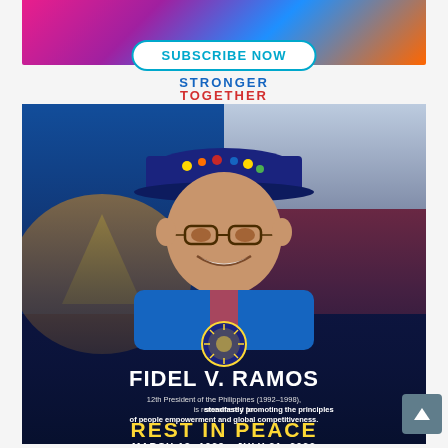[Figure (photo): Colorful banner with pink, purple, blue and orange gradient background at the top of the page]
SUBSCRIBE NOW
STRONGER TOGETHER
[Figure (photo): Memorial photo of Fidel V. Ramos wearing a military cap with medals and decorations, smiling, with the Philippine flag in the background. Text overlay reads: FIDEL V. RAMOS, 12th President of the Philippines (1992-1998), is remembered for steadfastly promoting the principles of people empowerment and global competitiveness. REST IN PEACE. MARCH 18, 1928 - JULY 31, 2022.]
FIDEL V. RAMOS — 12th President of the Philippines (1992–1998), is remembered for steadfastly promoting the principles of people empowerment and global competitiveness. REST IN PEACE. MARCH 18, 1928 - JULY 31, 2022.